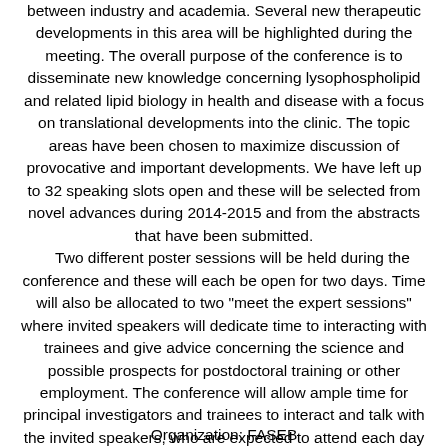between industry and academia. Several new therapeutic developments in this area will be highlighted during the meeting. The overall purpose of the conference is to disseminate new knowledge concerning lysophospholipid and related lipid biology in health and disease with a focus on translational developments into the clinic. The topic areas have been chosen to maximize discussion of provocative and important developments. We have left up to 32 speaking slots open and these will be selected from novel advances during 2014-2015 and from the abstracts that have been submitted. Two different poster sessions will be held during the conference and these will each be open for two days. Time will also be allocated to two "meet the expert sessions" where invited speakers will dedicate time to interacting with trainees and give advice concerning the science and possible prospects for postdoctoral training or other employment. The conference will allow ample time for principal investigators and trainees to interact and talk with the invited speakers, who are expected to attend each day of the meeting. This FASEB conference has taken place every two years since 1999. It has become a very popular conference and it consistently attracts leading experts from within the field.
Organization: FASEB